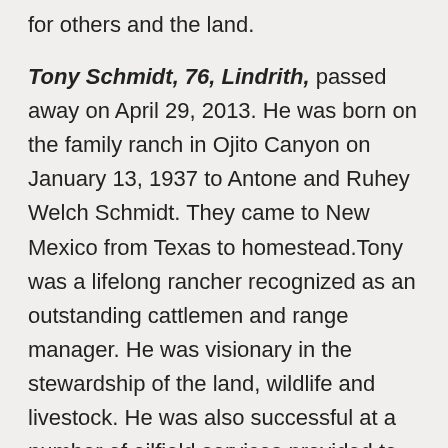for others and the land.
Tony Schmidt, 76, Lindrith, passed away on April 29, 2013. He was born on the family ranch in Ojito Canyon on January 13, 1937 to Antone and Ruhey Welch Schmidt. They came to New Mexico from Texas to homestead.Tony was a lifelong rancher recognized as an outstanding cattlemen and range manager. He was visionary in the stewardship of the land, wildlife and livestock. He was also successful at a number of oilfield services provided to oil and gas producers in the San Juan Basin and Lindreth area. Tony was a deacon in the Lindrith Baptist Church and a leaders in his community. He took the lead in planning and contructing a community cattle shipping facility with scales to serve the community in a 30 mile plus area, as well as a rodeo arena / recreation facility. He helped establish and maintain the Lindrith Charter School when the school